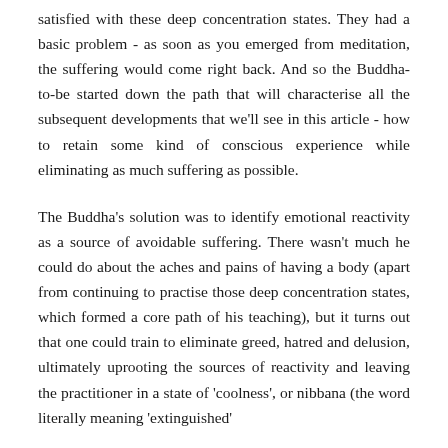satisfied with these deep concentration states. They had a basic problem - as soon as you emerged from meditation, the suffering would come right back. And so the Buddha-to-be started down the path that will characterise all the subsequent developments that we'll see in this article - how to retain some kind of conscious experience while eliminating as much suffering as possible.

The Buddha's solution was to identify emotional reactivity as a source of avoidable suffering. There wasn't much he could do about the aches and pains of having a body (apart from continuing to practise those deep concentration states, which formed a core path of his teaching), but it turns out that one could train to eliminate greed, hatred and delusion, ultimately uprooting the sources of reactivity and leaving the practitioner in a state of 'coolness', or nibbana (the word literally meaning 'extinguished'